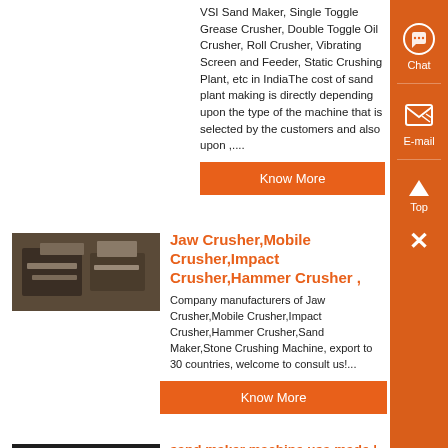VSI Sand Maker, Single Toggle Grease Crusher, Double Toggle Oil Crusher, Roll Crusher, Vibrating Screen and Feeder, Static Crushing Plant, etc in IndiaThe cost of sand plant making is directly depending upon the type of the machine that is selected by the customers and also upon ,....
Know More
[Figure (photo): Industrial crusher/machinery equipment photo, brownish tones]
Jaw Crusher,Mobile Crusher,Impact Crusher,Hammer Crusher ,
Company manufacturers of Jaw Crusher,Mobile Crusher,Impact Crusher,Hammer Crusher,Sand Maker,Stone Crushing Machine, export to 30 countries, welcome to consult us!...
Know More
[Figure (photo): Dark industrial machinery photo, cylindrical crushing equipment]
sand maker machine usa made | worldcrushers
Jul 25, 2013· sand making machine – Crusher, Jaw crusher, China Crusher , Sand Maker is a high-efficiency rock crushing equipment with domestic and international